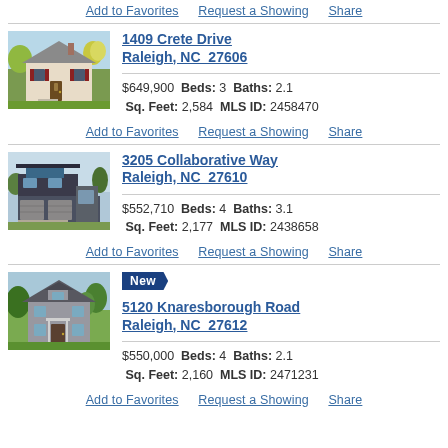Add to Favorites  Request a Showing  Share
[Figure (photo): Exterior photo of 1409 Crete Drive, a two-story colonial-style home with red shutters and yellow flowering trees]
1409 Crete Drive Raleigh, NC  27606
$649,900  Beds: 3  Baths: 2.1  Sq. Feet: 2,584  MLS ID: 2458470
Add to Favorites  Request a Showing  Share
[Figure (photo): Exterior photo of 3205 Collaborative Way, a modern two-story home with dark siding and two-car garage]
3205 Collaborative Way Raleigh, NC  27610
$552,710  Beds: 4  Baths: 3.1  Sq. Feet: 2,177  MLS ID: 2438658
Add to Favorites  Request a Showing  Share
[Figure (photo): Exterior photo of 5120 Knaresborough Road, a colonial-style home with gray siding surrounded by trees]
New
5120 Knaresborough Road Raleigh, NC  27612
$550,000  Beds: 4  Baths: 2.1  Sq. Feet: 2,160  MLS ID: 2471231
Add to Favorites  Request a Showing  Share